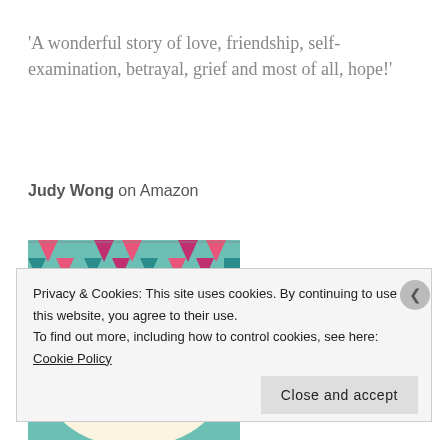'A wonderful story of love, friendship, self-examination, betrayal, grief and most of all, hope!'
Judy Wong on Amazon
[Figure (illustration): Book cover for 'The Choir' by Annie Lyons. Teal/mint green background with colorful bunting flags at the top. Author name 'ANNIE LYONS' in teal uppercase letters with musical note symbols. Title 'The Choir' in large pink/magenta cursive script with a gold treble clef symbol on the left.]
Privacy & Cookies: This site uses cookies. By continuing to use this website, you agree to their use.
To find out more, including how to control cookies, see here: Cookie Policy
Close and accept